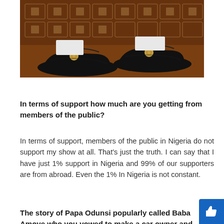[Figure (photo): Photo showing two feet/legs wearing black loafers/dress shoes with gold coin embellishments, standing on a brown patterned carpet/floor]
In terms of support how much are you getting from members of the public?
In terms of support, members of the public in Nigeria do not support my show at all. That's just the truth. I can say that I have just 1% support in Nigeria and 99% of our supporters are from abroad. Even the 1% In Nigeria is not constant.
The story of Papa Odunsi popularly called Baba Amoye who you vowed to make a car owner and you did not relent u...